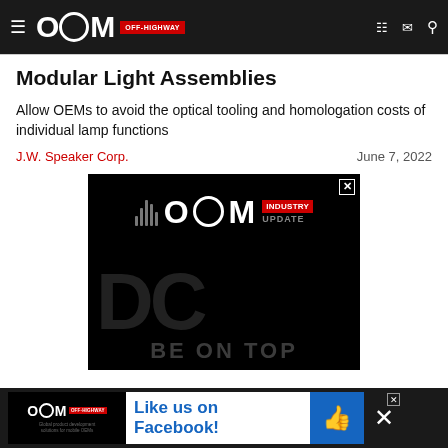OEM OFF-HIGHWAY
Modular Light Assemblies
Allow OEMs to avoid the optical tooling and homologation costs of individual lamp functions
J.W. Speaker Corp.    June 7, 2022
[Figure (screenshot): OEM Industry Update advertisement on black background with sound wave icon, OEM logo, INDUSTRY UPDATE text in red badge, and BE ON TOP text partially visible]
[Figure (screenshot): OEM Off-Highway Facebook Like Us advertisement banner at bottom of page]